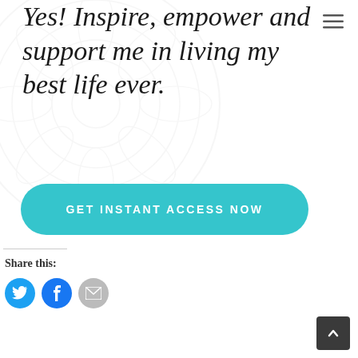[Figure (illustration): Decorative circular watermark/mandala pattern in light gray in the background top-left]
Yes! Inspire, empower and support me in living my best life ever.
GET INSTANT ACCESS NOW
Share this:
[Figure (other): Social share icons: Twitter (blue circle with bird), Facebook (blue circle with f), Email (gray circle with envelope)]